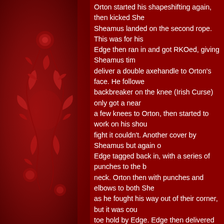Orton started his shapeshifting again, then kicked Sheamus landed on the second rope. This was for his Edge then ran in and got RKOed, giving Sheamus time deliver a double axehandle to Orton's face. He followed backbreaker on the knee (Irish Curse) only got a near a few knees to Orton, then started to work on his shou fight it couldn't. Another cover by Sheamus but again Edge tagged back in, with a series of punches to the b neck. Orton then with punches and elbows to both She as he fought his way out of their corner, but it was cou toe hold by Edge. Edge then delivered another hard fo head. Orton did manage to give him a clothesline befo Cena with a series of flying shoulder blocks....then the the NXT guys ripping the place up in back.
Comments (2)
Sort by: Date  Rating  Last Activity
Karen Allen  36 years ago